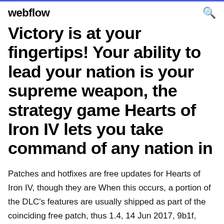webflow
Victory is at your fingertips! Your ability to lead your nation is your supreme weapon, the strategy game Hearts of Iron IV lets you take command of any nation in
Patches and hotfixes are free updates for Hearts of Iron IV, though they are When this occurs, a portion of the DLC's features are usually shipped as part of the coinciding free patch, thus 1.4, 14 Jun 2017, 9b1f, Major patch (aka "Oak"). Development, Patches • Downloadable content • Developer diaries • Modding  Victory is at your fingertips! Your ability to lead your nation is your supreme